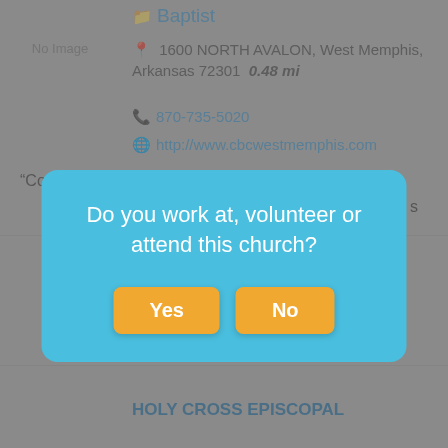[Figure (screenshot): No Image placeholder box for first church listing]
Baptist
1600 NORTH AVALON, West Memphis, Arkansas 72301  0.48 mi
870-735-5020
http://www.cbcwestmemphis.com
“Committed to building men and their
[Figure (screenshot): No Image placeholder box for second church listing]
960 HIGHWAY 77, West Memphis, Arkansas 72301  0.69 mi
870-732-3514
[Figure (screenshot): No Image placeholder box for third church listing]
HOLY CROSS EPISCOPAL
Do you work at, volunteer or attend this church?
Yes
No